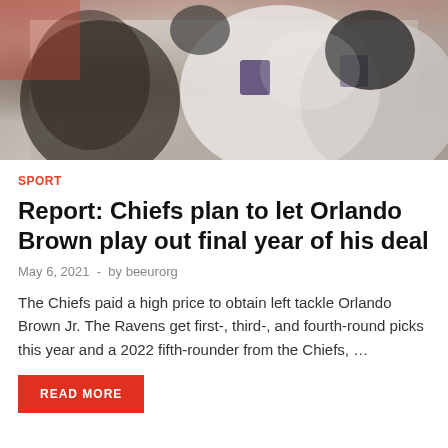[Figure (photo): Football players in white Ravens jerseys during a game, close-up action shot]
SPORT
Report: Chiefs plan to let Orlando Brown play out final year of his deal
May 6, 2021  -  by beeurorg
The Chiefs paid a high price to obtain left tackle Orlando Brown Jr. The Ravens get first-, third-, and fourth-round picks this year and a 2022 fifth-rounder from the Chiefs, …
READ MORE